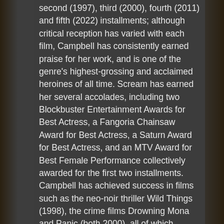second (1997), third (2000), fourth (2011) and fifth (2022) installments; although critical reception has varied with each film, Campbell has consistently earned praise for her work, and is one of the genre's highest-grossing and acclaimed heroines of all time. Scream has earned her several accolades, including two Blockbuster Entertainment Awards for Best Actress, a Fangoria Chainsaw Award for Best Actress, a Saturn Award for Best Actress, and an MTV Award for Best Female Performance collectively awarded for the first two installments. Campbell has achieved success in films such as the neo-noir thriller Wild Things (1998), the crime films Drowning Mona and Panic (both 2000), all of which garnered acclaim. She furthered this success with roles in the drama films Last Call (2002), The Company (2003) and When Will I Be Loved (2004), the comedies Churchill: The Hollywood Years (2004)